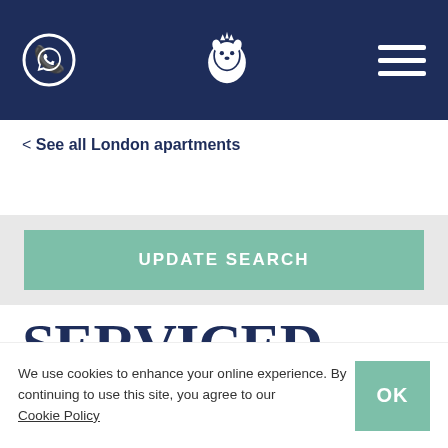Navigation header with phone icon, lion logo, and hamburger menu
< See all London apartments
UPDATE SEARCH
SERVICED APARTMENTS IN CROYDON
We use cookies to enhance your online experience. By continuing to use this site, you agree to our Cookie Policy.